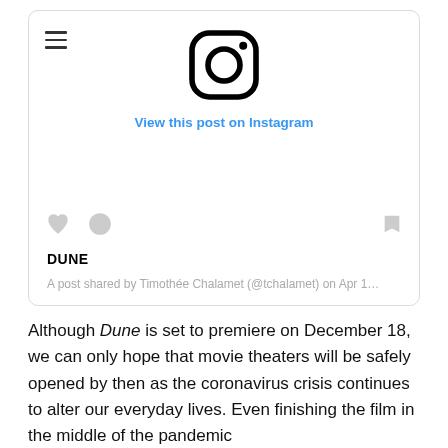[Figure (screenshot): Instagram embed card showing the Instagram logo, a 'View this post on Instagram' link, action icons (heart, speech bubble, bookmark), the title 'DUNE', and attribution text 'A post shared by Timothée Chalamet (@tchalamet) on Apr 1...']
Although Dune is set to premiere on December 18, we can only hope that movie theaters will be safely opened by then as the coronavirus crisis continues to alter our everyday lives. Even finishing the film in the middle of the pandemic